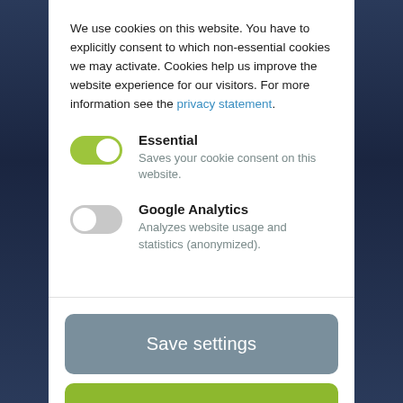We use cookies on this website. You have to explicitly consent to which non-essential cookies we may activate. Cookies help us improve the website experience for our visitors. For more information see the privacy statement.
Essential
Saves your cookie consent on this website.
Google Analytics
Analyzes website usage and statistics (anonymized).
Save settings
Accept all